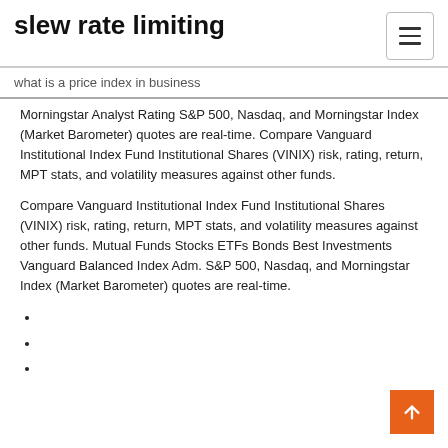slew rate limiting
what is a price index in business
Morningstar Analyst Rating S&P 500, Nasdaq, and Morningstar Index (Market Barometer) quotes are real-time. Compare Vanguard Institutional Index Fund Institutional Shares (VINIX) risk, rating, return, MPT stats, and volatility measures against other funds.
Compare Vanguard Institutional Index Fund Institutional Shares (VINIX) risk, rating, return, MPT stats, and volatility measures against other funds. Mutual Funds Stocks ETFs Bonds Best Investments Vanguard Balanced Index Adm. S&P 500, Nasdaq, and Morningstar Index (Market Barometer) quotes are real-time.